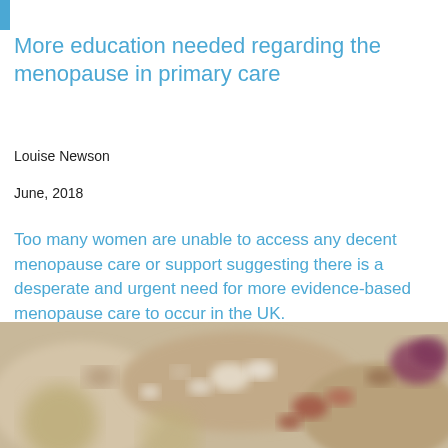More education needed regarding the menopause in primary care
Louise Newson
June, 2018
Too many women are unable to access any decent menopause care or support suggesting there is a desperate and urgent need for more evidence-based menopause care to occur in the UK.
[Figure (photo): Blurred close-up photo of pills and tablets on a beige surface]